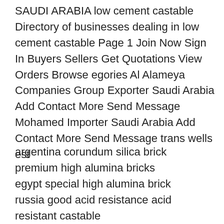SAUDI ARABIA low cement castable Directory of businesses dealing in low cement castable Page 1 Join Now Sign In Buyers Sellers Get Quotations View Orders Browse egories Al Alameya Companies Group Exporter Saudi Arabia Add Contact More Send Message Mohamed Importer Saudi Arabia Add Contact More Send Message trans wells est
argentina corundum silica brick
premium high alumina bricks
egypt special high alumina brick
russia good acid resistance acid resistant castable
high quality cast big sillimanite block factory
professional manufacturer sillimanite stone price
quality assurance magnesia brick manufacturer
factory direct supply silica brick used to build